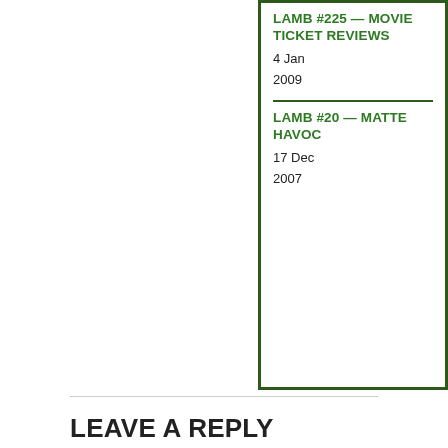LAMB #225 — MOVIE TICKET REVIEWS
4 Jan 2009
LAMB #20 — MATTE HAVOC
17 Dec 2007
LEAVE A REPLY